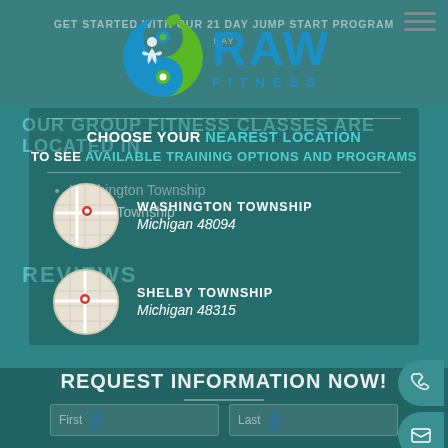[Figure (logo): Raw Fitness logo with yin-yang style circular icon in blue and green, with text RAW FITNESS]
GET STARTED WITH OUR 21 DAY JUMP START PROGRAM
OUR GROUP FITNESS CLASSES ARE LOCATED IN
CHOOSE YOUR NEAREST LOCATION TO SEE AVAILABLE TRAINING OPTIONS AND PROGRAMS
Washington Township
Shelby Township
WASHINGTON TOWNSHIP
Michigan 48094
SHELBY TOWNSHIP
Michigan 48315
REVIEWS
REQUEST INFORMATION NOW!
First
Last